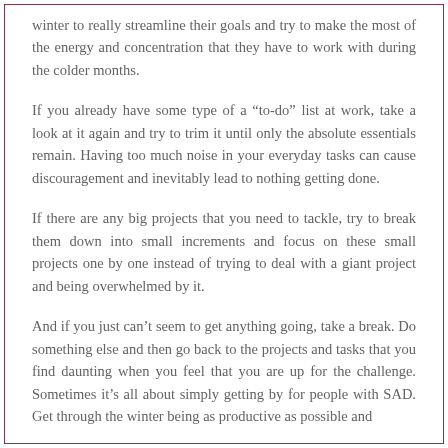winter to really streamline their goals and try to make the most of the energy and concentration that they have to work with during the colder months.
If you already have some type of a “to-do” list at work, take a look at it again and try to trim it until only the absolute essentials remain. Having too much noise in your everyday tasks can cause discouragement and inevitably lead to nothing getting done.
If there are any big projects that you need to tackle, try to break them down into small increments and focus on these small projects one by one instead of trying to deal with a giant project and being overwhelmed by it.
And if you just can’t seem to get anything going, take a break. Do something else and then go back to the projects and tasks that you find daunting when you feel that you are up for the challenge. Sometimes it’s all about simply getting by for people with SAD. Get through the winter being as productive as possible and